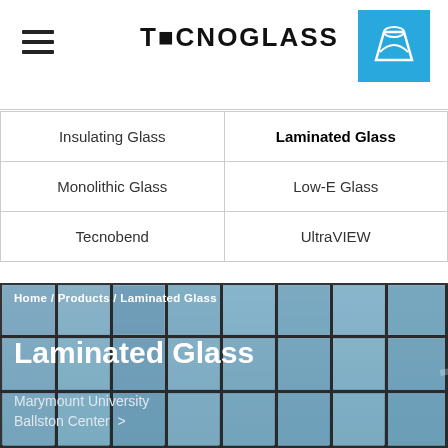TECNOGLASS
| Col1 | Col2 |
| --- | --- |
| Insulating Glass | Laminated Glass |
| Monolithic Glass | Low-E Glass |
| Tecnobend | UltraVIEW |
Home / Products / Laminated Glass
Laminated Glass
Marymount University Ballston Center >